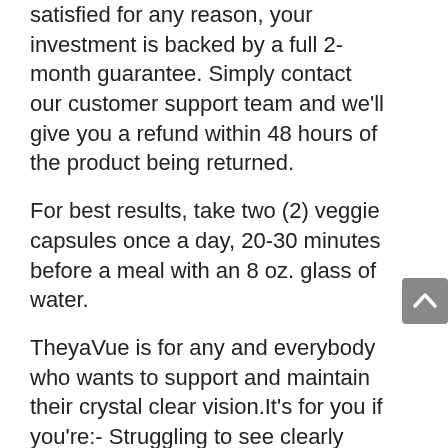satisfied for any reason, your investment is backed by a full 2-month guarantee. Simply contact our customer support team and we'll give you a refund within 48 hours of the product being returned.
For best results, take two (2) veggie capsules once a day, 20-30 minutes before a meal with an 8 oz. glass of water.
TheyaVue is for any and everybody who wants to support and maintain their crystal clear vision.It's for you if you're:- Struggling to see clearly
– Squinting over fine print
– Feel nervous when driving at night
– If you can't see tiny things in the distance when you're out on the golf course or taking a walk with a friend Th tt t f